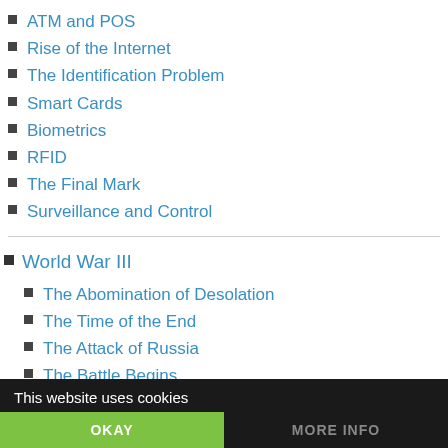ATM and POS
Rise of the Internet
The Identification Problem
Smart Cards
Biometrics
RFID
The Final Mark
Surveillance and Control
World War III
The Abomination of Desolation
The Time of the End
The Attack of Russia
The Battle Begins
Nuclear War and the Great Tribulation
This website uses cookies
OKAY
MORE INFO